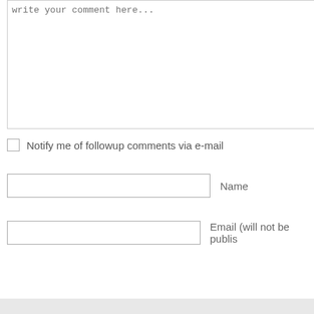write your comment here...
Notify me of followup comments via e-mail
Name
Email (will not be published)
Submit Comment